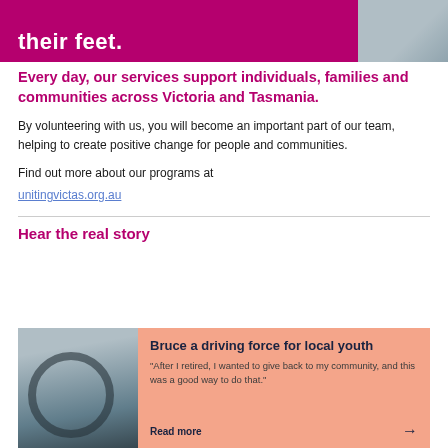[Figure (photo): Purple/magenta banner with white bold text 'their feet.' and a photo of a person in blue clothing on the right side]
Every day, our services support individuals, families and communities across Victoria and Tasmania.
By volunteering with us, you will become an important part of our team, helping to create positive change for people and communities.
Find out more about our programs at unitingvictas.org.au
Hear the real story
[Figure (photo): Card with a photo of a person driving a car on the left, and a salmon/peach coloured panel on the right with title 'Bruce a driving force for local youth', a quote 'After I retired, I wanted to give back to my community, and this was a good way to do that.' and a 'Read more' link with arrow]